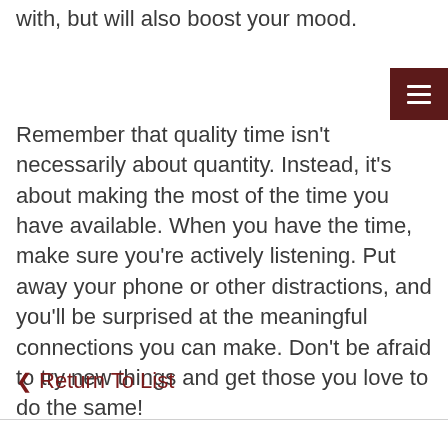with, but will also boost your mood.
Remember that quality time isn't necessarily about quantity. Instead, it's about making the most of the time you have available. When you have the time, make sure you're actively listening. Put away your phone or other distractions, and you'll be surprised at the meaningful connections you can make. Don't be afraid to try new things and get those you love to do the same!
‹ Return To List